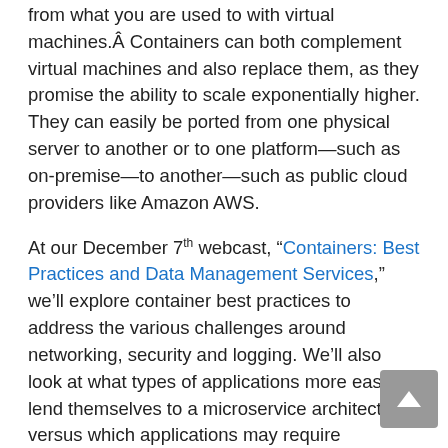from what you are used to with virtual machines.Â Containers can both complement virtual machines and also replace them, as they promise the ability to scale exponentially higher. They can easily be ported from one physical server to another or to one platform—such as on-premise—to another—such as public cloud providers like Amazon AWS.
At our December 7th webcast, “Containers: Best Practices and Data Management Services,” we’ll explore container best practices to address the various challenges around networking, security and logging. We’ll also look at what types of applications more easily lend themselves to a microservice architecture versus which applications may require additional investments to refactor/re-architect to take advantage of microservices.
On December 7th, we’ll be on hand to answer your questions on the spot. I encourage you to register today. We hope you can attend!